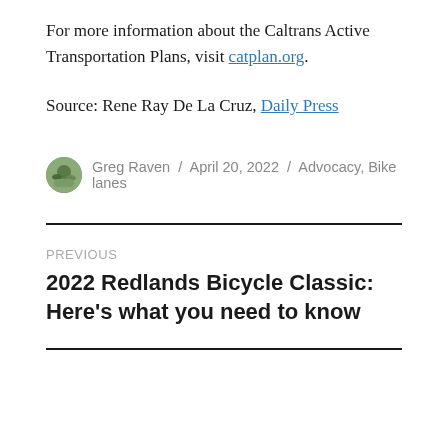For more information about the Caltrans Active Transportation Plans, visit catplan.org.
Source: Rene Ray De La Cruz, Daily Press
Greg Raven / April 20, 2022 / Advocacy, Bike lanes
PREVIOUS
2022 Redlands Bicycle Classic: Here's what you need to know